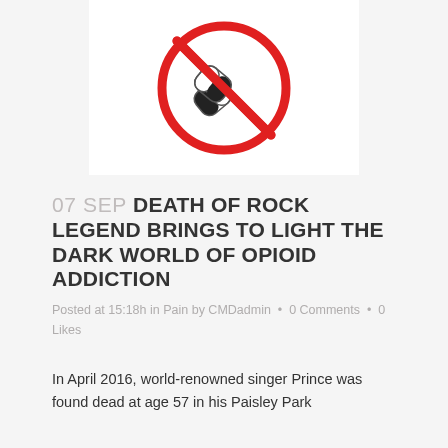[Figure (illustration): No pills / anti-drug symbol: a red circle with a diagonal red line through it, with two capsule pills (black and white) crossed inside]
07 SEP DEATH OF ROCK LEGEND BRINGS TO LIGHT THE DARK WORLD OF OPIOID ADDICTION
Posted at 15:18h in Pain by CMDadmin  •  0 Comments  •  0 Likes
In April 2016, world-renowned singer Prince was found dead at age 57 in his Paisley Park